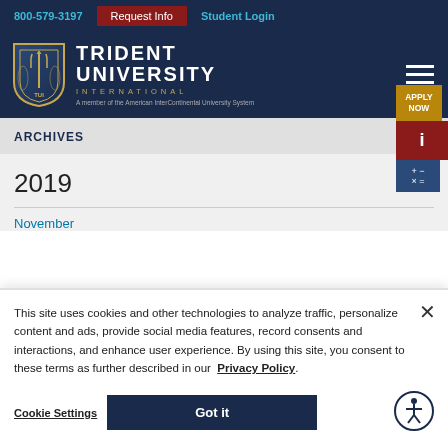800-579-3197 | Request Info | Student Login
[Figure (logo): Trident University International logo with shield and TUI crest. Text: TRIDENT UNIVERSITY INTERNATIONAL. A member of the American InterContinental University System]
ARCHIVES
2019
November
This site uses cookies and other technologies to analyze traffic, personalize content and ads, provide social media features, record consents and interactions, and enhance user experience. By using this site, you consent to these terms as further described in our Privacy Policy.
Cookie Settings
Got it